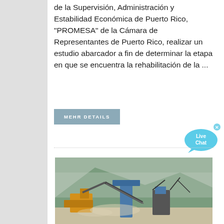de la Supervisión, Administración y Estabilidad Económica de Puerto Rico, "PROMESA" de la Cámara de Representantes de Puerto Rico, realizar un estudio abarcador a fin de determinar la etapa en que se encuentra la rehabilitación de la ...
MEHR DETAILS
[Figure (photo): Industrial mining or quarry site with large machinery, conveyor belts, and a hillside in the background. Heavy equipment including yellow loaders and blue conveyor structures visible.]